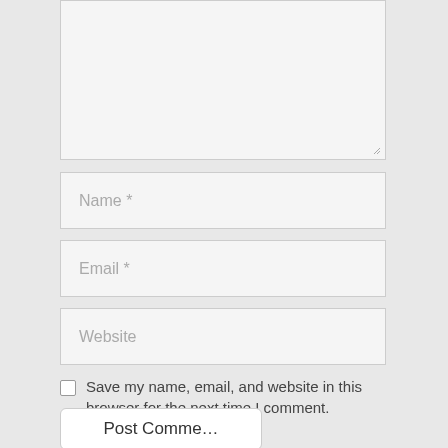[Figure (screenshot): A web comment form showing a textarea (partially visible at top), input fields for Name, Email, Website, a save-info checkbox, and a Post Comment button.]
Name *
Email *
Website
Save my name, email, and website in this browser for the next time I comment.
Post Comment